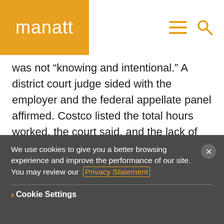[Figure (logo): Manatt law firm logo — white text 'manatt' on golden/amber background, with hamburger menu and search icons on the right]
was not “knowing and intentional.” A district court judge sided with the employer and the federal appellate panel affirmed. Costco listed the total hours worked, the court said, and the lack of vacation pay challenged by the plaintiff “does not reflect ‘total hours worked,’ but instead represents paid time off.” Because the employer complied with the “plain and commonsense meaning” of the statute, it was entitled to summary judgment, the
We use cookies to give you a better browsing experience and improve the performance of our site. You may review our Privacy Statement
› Cookie Settings